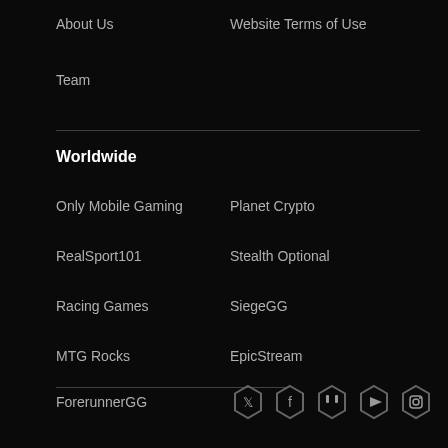About Us
Website Terms of Use
Team
Worldwide
Only Mobile Gaming
Planet Crypto
RealSport101
Stealth Optional
Racing Games
SiegeGG
MTG Rocks
EpicStream
ForerunnerGG
[Figure (other): Social media icons in hexagon shapes: Twitter, Facebook, Twitch, YouTube, Instagram]